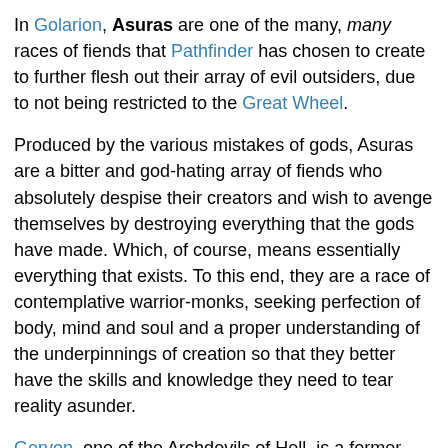In Golarion, Asuras are one of the many, many races of fiends that Pathfinder has chosen to create to further flesh out their array of evil outsiders, due to not being restricted to the Great Wheel.
Produced by the various mistakes of gods, Asuras are a bitter and god-hating array of fiends who absolutely despise their creators and wish to avenge themselves by destroying everything that the gods have made. Which, of course, means essentially everything that exists. To this end, they are a race of contemplative warrior-monks, seeking perfection of body, mind and soul and a proper understanding of the underpinnings of creation so that they better have the skills and knowledge they need to tear reality asunder.
Geryon, one of the Archdevils of Hell, is a former Asura Rana that Asmodeus recruited in his infernal takeover.
As of the release of Bestiary 6, there are six different species of Asura that players can potentially run into.